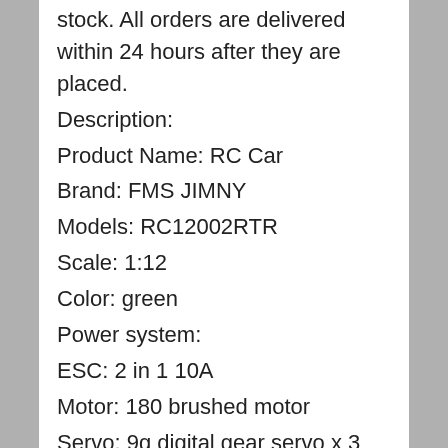stock. All orders are delivered within 24 hours after they are placed.
Description:
Product Name: RC Car
Brand: FMS JIMNY
Models: RC12002RTR
Scale: 1:12
Color: green
Power system:
ESC: 2 in 1 10A
Motor: 180 brushed motor
Servo: 9g digital gear servo x 3
Transmitter:
Frequency: 2.4GHz
Battery: 4 x AAA batteries (not included)
Car battery